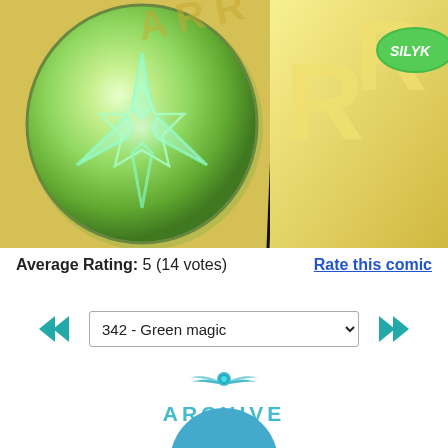[Figure (illustration): Comic panel showing a glowing green star/magic circle on a round object, with large golden letters R in background panels, and a green oval badge with text SILYK partially visible in top right corner]
Average Rating: 5 (14 votes)
Rate this comic
342 - Green magic
[Figure (logo): Archive logo with teal wings and sphere icon above the word ARCHIVE in teal letters]
[Figure (illustration): Teal circular button with text LEAVE A COMMENT]